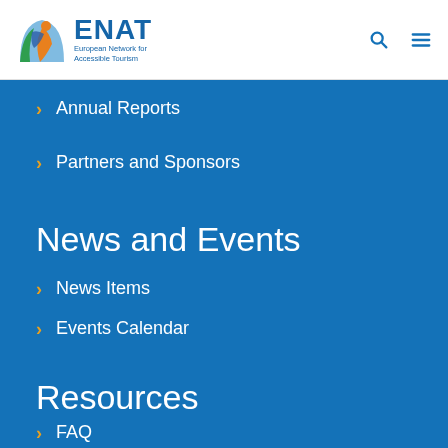[Figure (logo): ENAT European Network for Accessible Tourism logo with colorful leaf/person icon]
Annual Reports
Partners and Sponsors
News and Events
News Items
Events Calendar
Resources
FAQ